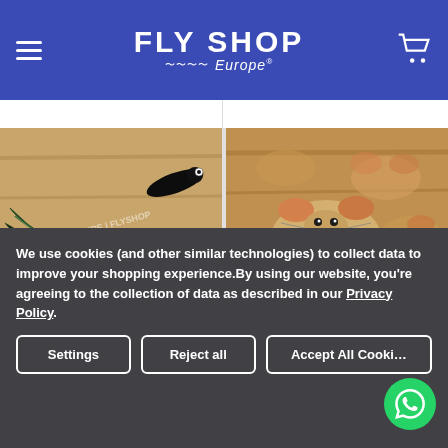FLY SHOP Europe
[Figure (photo): Fly fishing lures (black feather flies) on a wooden ruler surface, with KYPE/FLYSHOP Europe watermark]
[Figure (photo): Mouse-shaped fly fishing lures on wooden surface, with FLYSHOP Europe watermark]
We use cookies (and other similar technologies) to collect data to improve your shopping experience.By using our website, you're agreeing to the collection of data as described in our Privacy Policy.
Settings | Reject all | Accept All Cookies